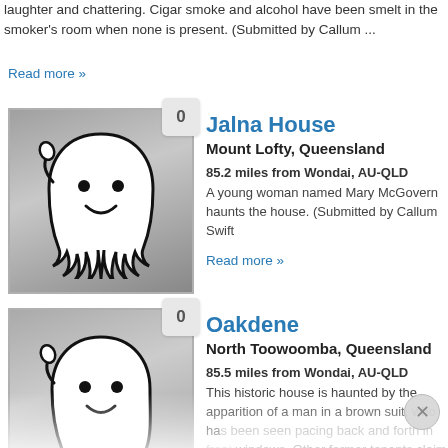laughter and chattering. Cigar smoke and alcohol have been smelt in the smoker's room when none is present. (Submitted by Callum ...
Read more »
Jalna House
Mount Lofty, Queensland
85.2 miles from Wondai, AU-QLD
A young woman named Mary McGovern haunts the house. (Submitted by Callum Swift
Read more »
[Figure (illustration): Ghost illustration - cartoon white ghost on grey background with badge showing 0]
Oakdene
North Toowoomba, Queensland
85.5 miles from Wondai, AU-QLD
This historic house is haunted by the apparition of a man in a brown suit, who has been seen pacing back and forth in front of windows. Other former tenants claim to have...
[Figure (illustration): Ghost illustration - cartoon white ghost on grey background with badge showing 0 and reflection below]